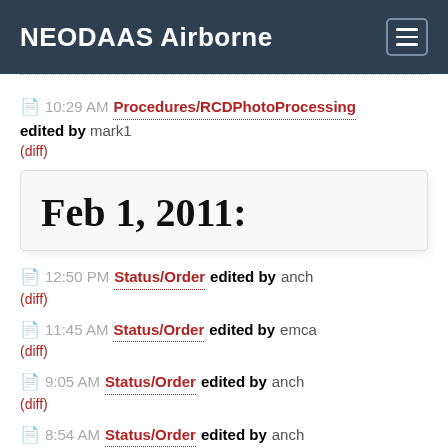NEODAAS Airborne
10:29 AM Procedures/RCDPhotoProcessing edited by mark1 (diff)
Feb 1, 2011:
12:50 PM Status/Order edited by anch (diff)
11:45 AM Status/Order edited by emca (diff)
9:05 AM Status/Order edited by anch (diff)
8:54 AM Status/Order edited by anch (diff)